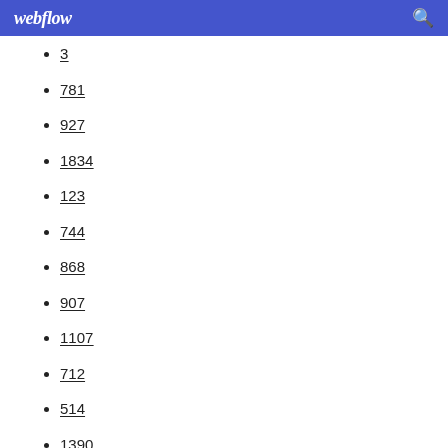webflow
3
781
927
1834
123
744
868
907
1107
712
514
1390
1771